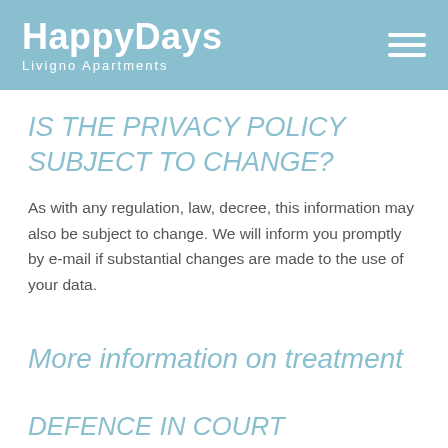HappyDays Livigno Apartments
IS THE PRIVACY POLICY SUBJECT TO CHANGE?
As with any regulation, law, decree, this information may also be subject to change. We will inform you promptly by e-mail if substantial changes are made to the use of your data.
More information on treatment
DEFENCE IN COURT
The User's personal data may be used by the